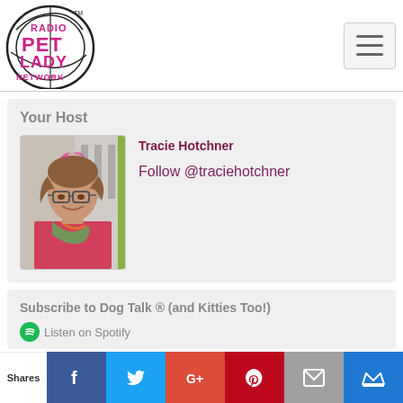Radio Pet Lady Network logo and navigation menu
Your Host
[Figure (photo): Photo of Tracie Hotchner, a woman with pink-tipped brown hair and glasses, smiling, wearing a colorful scarf and pink top]
Tracie Hotchner
Follow @traciehotchner
Subscribe to Dog Talk ® (and Kitties Too!)
Listen on Spotify
Shares | Facebook | Twitter | Google+ | Pinterest | Email | Kingsumo